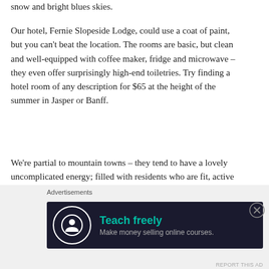snow and bright blues skies.
Our hotel, Fernie Slopeside Lodge, could use a coat of paint, but you can't beat the location. The rooms are basic, but clean and well-equipped with coffee maker, fridge and microwave – they even offer surprisingly high-end toiletries. Try finding a hotel room of any description for $65 at the height of the summer in Jasper or Banff.
We're partial to mountain towns – they tend to have a lovely uncomplicated energy; filled with residents who are fit, active and healthy.  We lived in Banff for two years and have visited Lake Louise, Kananaskis, Revelstoke, Whistler, Pemberton and Nelson and the common
[Figure (infographic): Advertisement banner with dark background showing 'Teach freely – Make money selling online courses.' with a circular logo icon on the left.]